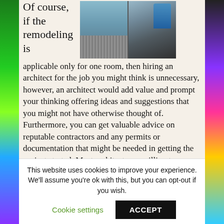[Figure (photo): Two photos side by side showing roofing work: left shows roof framing/sheeting, right shows a worker installing roofing material (shingles or slate).]
Of course, if the remodeling is applicable only for one room, then hiring an architect for the job you might think is unnecessary, however, an architect would add value and prompt your thinking offering ideas and suggestions that you might not have otherwise thought of. Furthermore, you can get valuable advice on reputable contractors and any permits or documentation that might be needed in getting the project started. Most architects are willing to negotiate prices as per the size and the budget of the client, so do not be afraid to...
This website uses cookies to improve your experience. We'll assume you're ok with this, but you can opt-out if you wish.
Cookie settings
ACCEPT